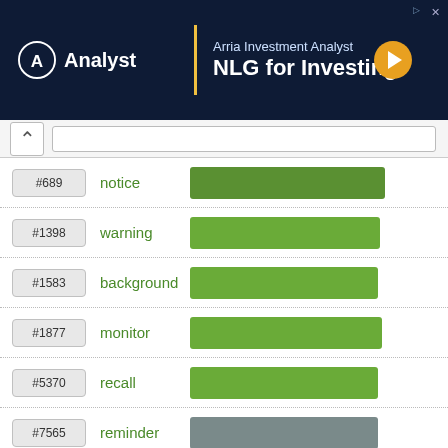[Figure (screenshot): Advertisement banner for Arria Investment Analyst NLG for Investing with logo and orange arrow button]
#689 notice
#1398 warning
#1583 background
#1877 monitor
#5370 recall
#7565 reminder
#9407 remind
#10766 booster
#13345 encore